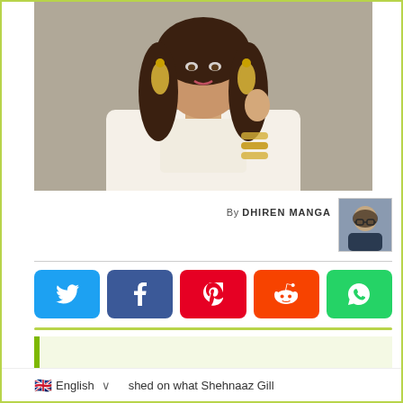[Figure (photo): Portrait photo of a young woman with long brown hair, wearing traditional Indian jewelry including large chandbali earrings and bangles, dressed in white ethnic wear, posed against a grey background.]
By DHIREN MANGA
[Figure (photo): Small headshot of the author Dhiren Manga, a man with glasses.]
[Figure (infographic): Social media share buttons: Twitter (blue), Facebook (dark blue), Pinterest (red), Reddit (orange-red), WhatsApp (green).]
"he even allowed her to pick her fees."
🇬🇧 English  ∨  shed on what Shehnaaz Gill